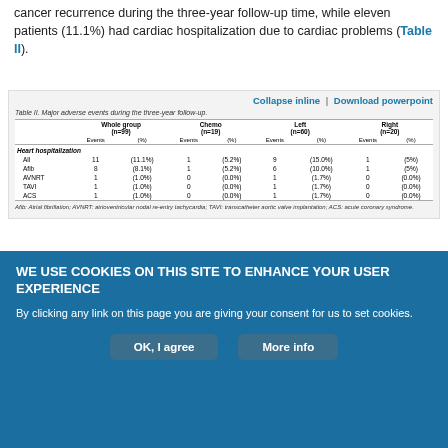cancer recurrence during the three-year follow-up time, while eleven patients (11.1%) had cardiac hospitalization due to cardiac problems (Table II).
|  | Whole group (n=99) Events | Whole group (n=99) (%) | Chemo (n=19) Events | Chemo (n=19) (%) | Left (n=60) Events | Left (n=60) (%) | Right (n=20) Events | Right (n=20) (%) |
| --- | --- | --- | --- | --- | --- | --- | --- | --- |
| Heart hospitalization |  |  |  |  |  |  |  |  |
| All | 11 | (11.1%) | 1 | (5.2%) | 9 | (15.0%) | 1 | (5%) |
| Afib | 8 | (8.1%) | 1 | (5.2%) | 6 | (10.0%) | 1 | (5%) |
| AVNRT | 1 | (1.0%) | 0 | (0.0%) | 1 | (1.7%) | 0 | (0.0%) |
| TAVI | 1 | (1.0%) | 0 | (0.0%) | 1 | (1.7%) | 0 | (0.0%) |
| ACS | 1 | (1.0%) | 0 | (0.0%) | 1 | (1.7%) | 0 | (0.0%) |
WE USE COOKIES ON THIS SITE TO ENHANCE YOUR USER EXPERIENCE By clicking any link on this page you are giving your consent for us to set cookies.